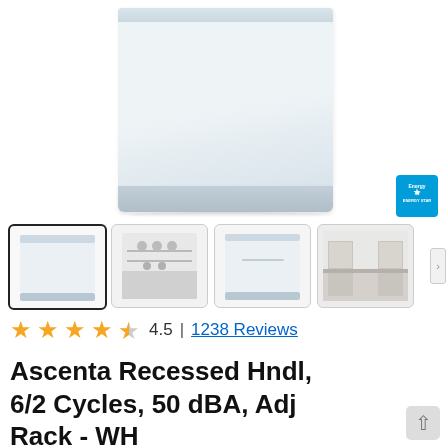[Figure (photo): Main product photo of a white Bosch dishwasher (Ascenta series) with recessed handle, front view, showing white door panel. Energy Star badge visible in lower right.]
[Figure (photo): Thumbnail 1: White dishwasher front view (selected/active thumbnail)]
[Figure (photo): Thumbnail 2: Open dishwasher showing interior racks loaded with dishes]
[Figure (photo): Thumbnail 3: White dishwasher front view, slightly different angle]
[Figure (photo): Thumbnail 4: Modern white kitchen interior with dishwasher installed]
4.5  |  1238 Reviews
Ascenta Recessed Hndl, 6/2 Cycles, 50 dBA, Adj Rack - WH